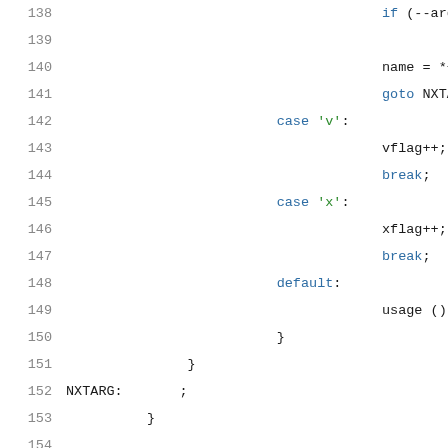Source code listing lines 138-159, C language switch statement and control flow